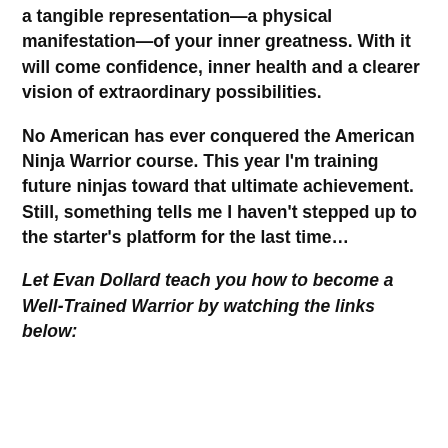a tangible representation—a physical manifestation—of your inner greatness. With it will come confidence, inner health and a clearer vision of extraordinary possibilities.
No American has ever conquered the American Ninja Warrior course. This year I'm training future ninjas toward that ultimate achievement. Still, something tells me I haven't stepped up to the starter's platform for the last time…
Let Evan Dollard teach you how to become a Well-Trained Warrior by watching the links below: